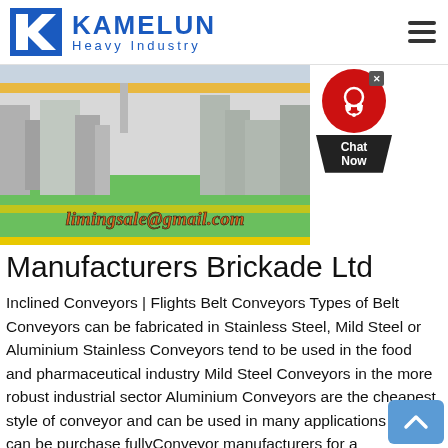KAMELUN Heavy Industry
[Figure (photo): Factory/manufacturing facility interior with machinery, overhead crane, green floor, and watermark text 'limingsale@gmail.com']
Manufacturers Brickade Ltd
Inclined Conveyors | Flights Belt Conveyors Types of Belt Conveyors can be fabricated in Stainless Steel, Mild Steel or Aluminium Stainless Conveyors tend to be used in the food and pharmaceutical industry Mild Steel Conveyors in the more robust industrial sector Aluminium Conveyors are the cheapest style of conveyor and can be used in many applications they can be purchase fullyConveyor manufacturers for a